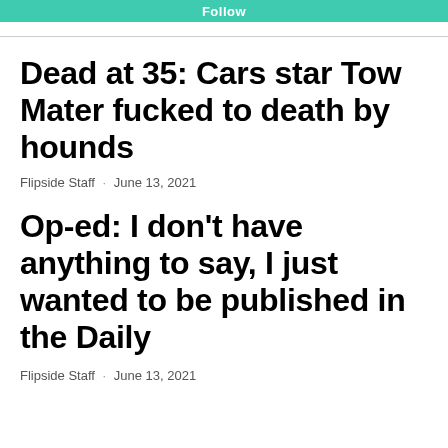Follow
Dead at 35: Cars star Tow Mater fucked to death by hounds
Flipside Staff · June 13, 2021
Op-ed: I don't have anything to say, I just wanted to be published in the Daily
Flipside Staff · June 13, 2021